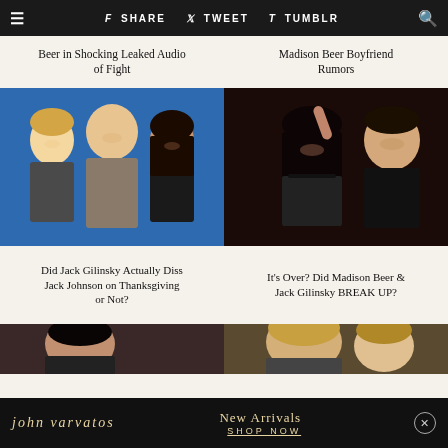≡  f SHARE  🐦 TWEET  t TUMBLR  🔍
Beer in Shocking Leaked Audio of Fight
Madison Beer Boyfriend Rumors
[Figure (photo): Three young people posing together against a blue background — two males and a female]
[Figure (photo): Young woman and young man at what appears to be a dark event/party venue]
Did Jack Gilinsky Actually Diss Jack Johnson on Thanksgiving or Not?
It's Over? Did Madison Beer & Jack Gilinsky BREAK UP?
[Figure (photo): Partial image of people, bottom row left]
[Figure (photo): Partial image of people, bottom row right]
[Figure (advertisement): John Varvatos New Arrivals Shop Now ad banner]